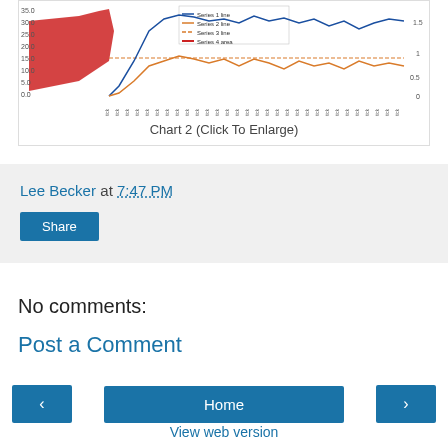[Figure (continuous-plot): Partial line chart with blue, orange, and red lines showing time series data. Y-axis left shows values 0.0–35.0, y-axis right shows 0–1.5. X-axis shows dense time tick labels.]
Chart 2 (Click To Enlarge)
Lee Becker at 7:47 PM
Share
No comments:
Post a Comment
‹
Home
›
View web version
About Me